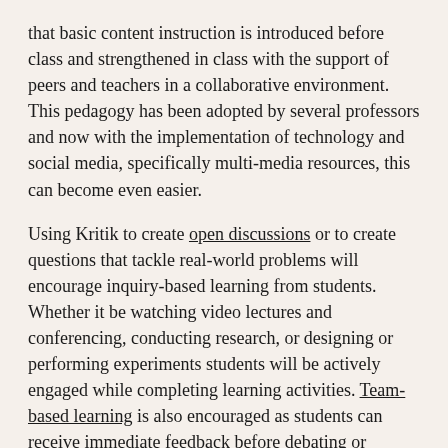that basic content instruction is introduced before class and strengthened in class with the support of peers and teachers in a collaborative environment. This pedagogy has been adopted by several professors and now with the implementation of technology and social media, specifically multi-media resources, this can become even easier.
Using Kritik to create open discussions or to create questions that tackle real-world problems will encourage inquiry-based learning from students. Whether it be watching video lectures and conferencing, conducting research, or designing or performing experiments students will be actively engaged while completing learning activities. Team-based learning is also encouraged as students can receive immediate feedback before debating or completing group work in class.